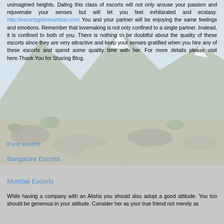unimagined heights. Dating this class of escorts will not only arouse your passion and rejuvenate your senses but will let you feel exhilarated and ecstasy. http://escortsgirlinmumbai.com/ You and your partner will be enjoying the same feelings and emotions. Remember that lovemaking is not only confined to a single partner. Instead, it is confined to both of you. There is nothing to be doubtful about the quality of these escorts since they are very attractive and keep your senses gratified when you hire any of these escorts and spend some quality time with her. For more details please visit here.Thank You for Sharing Blog.
Pune escorts
Bangalore Escorts
Mumbai Escorts
While having a company with an Alisha you should also adopt a good attitude. You too should be generous in your attitude. Consider her as your true friend not merely as